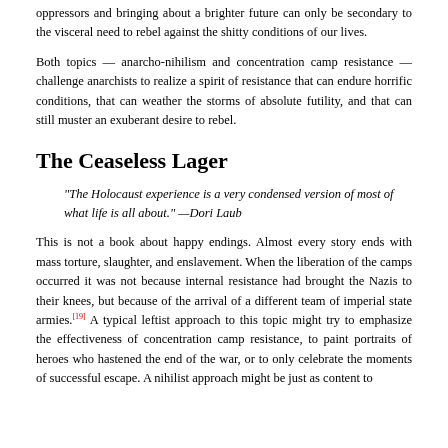oppressors and bringing about a brighter future can only be secondary to the visceral need to rebel against the shitty conditions of our lives.
Both topics — anarcho-nihilism and concentration camp resistance — challenge anarchists to realize a spirit of resistance that can endure horrific conditions, that can weather the storms of absolute futility, and that can still muster an exuberant desire to rebel.
The Ceaseless Lager
“The Holocaust experience is a very condensed version of most of what life is all about.” —Dori Laub
This is not a book about happy endings. Almost every story ends with mass torture, slaughter, and enslavement. When the liberation of the camps occurred it was not because internal resistance had brought the Nazis to their knees, but because of the arrival of a different team of imperial state armies.[19] A typical leftist approach to this topic might try to emphasize the effectiveness of concentration camp resistance, to paint portraits of heroes who hastened the end of the war, or to only celebrate the moments of successful escape. A nihilist approach might be just as content to